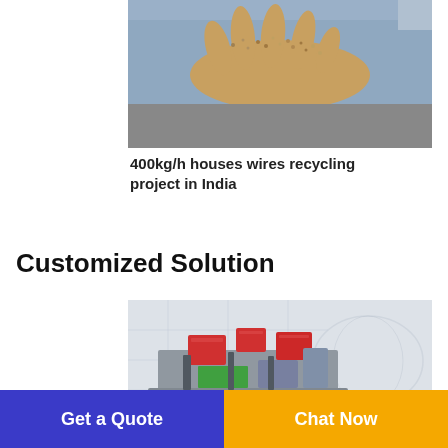[Figure (photo): Photo of a hand holding small copper granules with a company branded watermark overlay. Company: GONGYI CITY KERUI MACHINERY FACTORY CO., LTD. Website: www.keruimachinery.com, Email: Andywang@keruimachinery.com, WhatsApp: +8613838030255, Phone: 0086-15838030256]
400kg/h houses wires recycling project in India
Customized Solution
[Figure (photo): 3D rendering/illustration of an industrial wire recycling machine system with red, green, and grey components and a world map watermark in background.]
Get a Quote
Chat Now